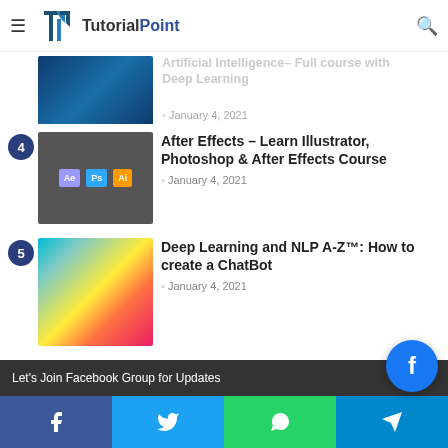TutorialPoint
Artificial Intelligence- Full course with Deep Learning
January 4, 2021
4 After Effects – Learn Illustrator, Photoshop & After Effects Course — January 4, 2021
5 Deep Learning and NLP A-Z™: How to create a ChatBot — January 4, 2021
Categories
Udemy Course 89
Python
Machine & Deep...
Let's Join Facebook Group for Updates
Facebook  Twitter  WhatsApp  Telegram